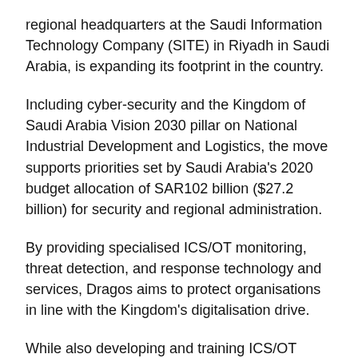regional headquarters at the Saudi Information Technology Company (SITE) in Riyadh in Saudi Arabia, is expanding its footprint in the country.
Including cyber-security and the Kingdom of Saudi Arabia Vision 2030 pillar on National Industrial Development and Logistics, the move supports priorities set by Saudi Arabia's 2020 budget allocation of SAR102 billion ($27.2 billion) for security and regional administration.
By providing specialised ICS/OT monitoring, threat detection, and response technology and services, Dragos aims to protect organisations in line with the Kingdom's digitalisation drive.
While also developing and training ICS/OT cyber-